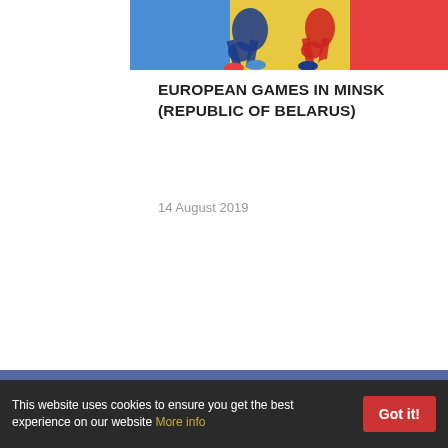[Figure (photo): Sports action photo showing athletes on a colorful mat, partially cropped at top]
EUROPEAN GAMES IN MINSK (REPUBLIC OF BELARUS)
14 August 2019
[Figure (infographic): Blue newsletter subscription section with envelope icon and FOLLOW LATEST NEWS heading, email input field, and SUBSCRIBE button]
This website uses cookies to ensure you get the best experience on our website More info
Got it!